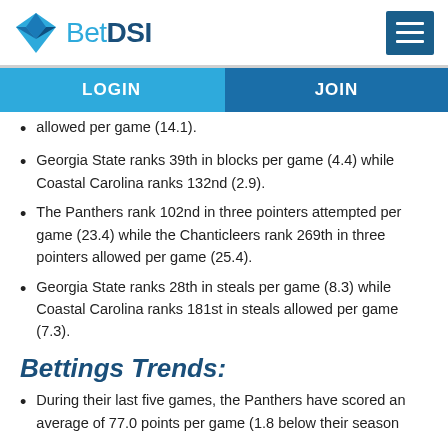BetDSI
allowed per game (14.1).
Georgia State ranks 39th in blocks per game (4.4) while Coastal Carolina ranks 132nd (2.9).
The Panthers rank 102nd in three pointers attempted per game (23.4) while the Chanticleers rank 269th in three pointers allowed per game (25.4).
Georgia State ranks 28th in steals per game (8.3) while Coastal Carolina ranks 181st in steals allowed per game (7.3).
Bettings Trends:
During their last five games, the Panthers have scored an average of 77.0 points per game (1.8 below their season